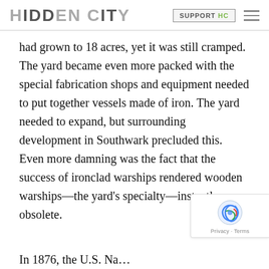HIDDEN CITY | SUPPORT HC | [menu]
had grown to 18 acres, yet it was still cramped. The yard became even more packed with the special fabrication shops and equipment needed to put together vessels made of iron. The yard needed to expand, but surrounding development in Southwark precluded this. Even more damning was the fact that the success of ironclad warships rendered wooden warships—the yard's specialty—instantly obsolete.
In 1876, the U.S. Na…